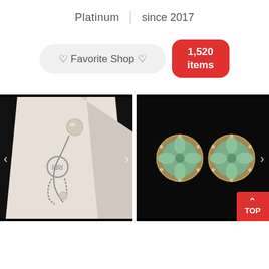Platinum  |  since 2017
♡ Favorite Shop ♡
1,520 items
[Figure (photo): Silver bracelet with pearl and decorative charm on white background]
[Figure (photo): Pair of round earrings with green floral carved jade stones set in silver filigree, on black background]